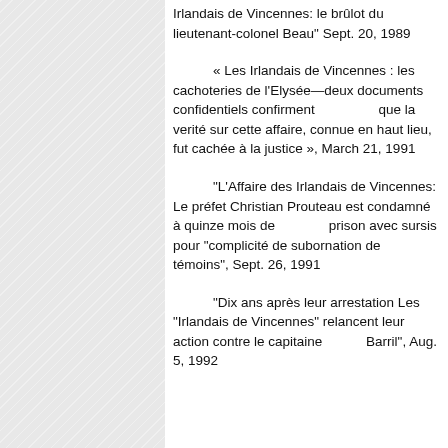Irlandais de Vincennes: le brûlot du lieutenant-colonel Beau" Sept. 20, 1989
« Les Irlandais de Vincennes : les cachoteries de l'Elysée—deux documents confidentiels confirment que la verité sur cette affaire, connue en haut lieu, fut cachée à la justice », March 21, 1991
"L'Affaire des Irlandais de Vincennes: Le préfet Christian Prouteau est condamné à quinze mois de prison avec sursis pour "complicité de subornation de témoins", Sept. 26, 1991
"Dix ans après leur arrestation Les "Irlandais de Vincennes" relancent leur action contre le capitaine Barril", Aug. 5, 1992